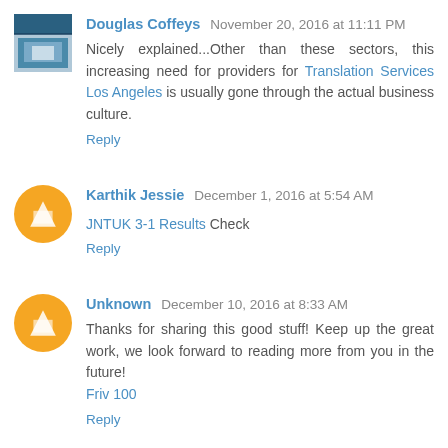Douglas Coffeys  November 20, 2016 at 11:11 PM
Nicely explained...Other than these sectors, this increasing need for providers for Translation Services Los Angeles is usually gone through the actual business culture.
Reply
Karthik Jessie  December 1, 2016 at 5:54 AM
JNTUK 3-1 Results Check
Reply
Unknown  December 10, 2016 at 8:33 AM
Thanks for sharing this good stuff! Keep up the great work, we look forward to reading more from you in the future! Friv 100
Reply